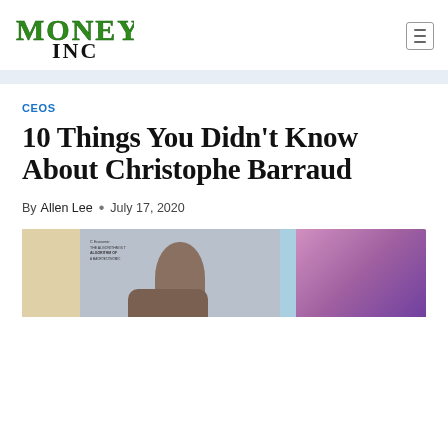Money Inc logo and navigation
CEOS
10 Things You Didn't Know About Christophe Barraud
By Allen Lee • July 17, 2020
[Figure (photo): Photo of Christophe Barraud, a bald man, seated at what appears to be a conference or interview setting with a colorful background]